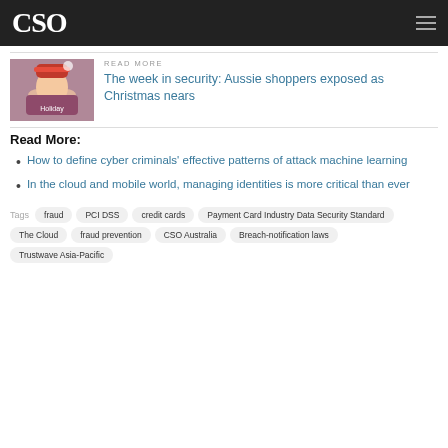CSO
[Figure (photo): Woman wearing a Santa hat, holiday shopping theme]
READ MORE
The week in security: Aussie shoppers exposed as Christmas nears
Read More:
How to define cyber criminals' effective patterns of attack machine learning
In the cloud and mobile world, managing identities is more critical than ever
Tags  fraud  PCI DSS  credit cards  Payment Card Industry Data Security Standard  The Cloud  fraud prevention  CSO Australia  Breach-notification laws  Trustwave Asia-Pacific